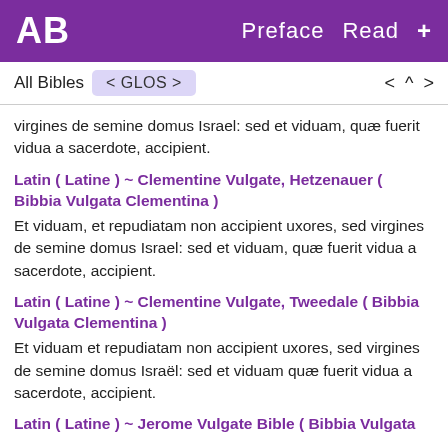AB  Preface  Read  +
All Bibles  < GLOS >  < ^ >
virgines de semine domus Israel: sed et viduam, quæ fuerit vidua a sacerdote, accipient.
Latin ( Latine ) ~ Clementine Vulgate, Hetzenauer ( Bibbia Vulgata Clementina )
Et viduam, et repudiatam non accipient uxores, sed virgines de semine domus Israel: sed et viduam, quæ fuerit vidua a sacerdote, accipient.
Latin ( Latine ) ~ Clementine Vulgate, Tweedale ( Bibbia Vulgata Clementina )
Et viduam et repudiatam non accipient uxores, sed virgines de semine domus Israël: sed et viduam quæ fuerit vidua a sacerdote, accipient.
Latin ( Latine ) ~ Jerome Vulgate Bible ( Bibbia Vulgata